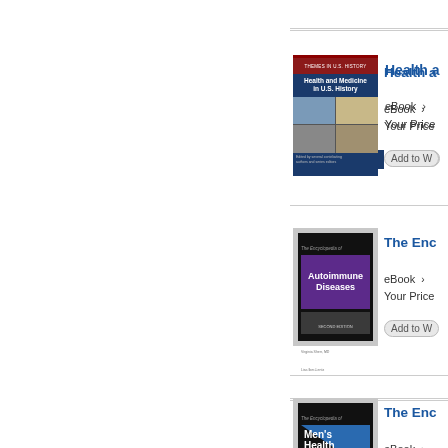[Figure (illustration): Book cover: Health and Medicine in U.S. History (Themes in U.S. History series), dark blue cover with photo collage]
Health a...
eBook ›
Your Price
Add to W...
[Figure (illustration): Book cover: The Encyclopedia of Autoimmune Diseases, Second Edition, black cover with purple center block]
The Enc...
eBook ›
Your Price
Add to W...
[Figure (illustration): Book cover: The Encyclopedia of Men's Health, Second Edition, black cover with blue diagonal and white text]
The Enc...
eBook ›
Your Price
Add to W...